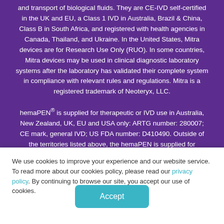and transport of biological fluids. They are CE-IVD self-certified in the UK and EU, a Class 1 IVD in Australia, Brazil & China, Class B in South Africa, and registered with health agencies in Canada, Thailand, and Ukraine. In the United States, Mitra devices are for Research Use Only (RUO). In some countries, Mitra devices may be used in clinical diagnostic laboratory systems after the laboratory has validated their complete system in compliance with relevant rules and regulations. Mitra is a registered trademark of Neoteryx, LLC.
hemaPEN® is supplied for therapeutic or IVD use in Australia, New Zealand, UK, EU and USA only: ARTG number: 280007; CE mark, general IVD; US FDA number: D410490. Outside of the territories listed above, the hemaPEN is supplied for research use only (RUO) and not for therapeutic or diagnostic use. hemaPEN® is a registered trademark
We use cookies to improve your experience and our website service. To read more about our cookies policy, please read our privacy policy. By continuing to browse our site, you accept our use of cookies.
Accept